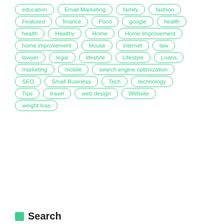education
Email Marketing
family
fashion
Featured
finance
Food
google
health
health
Healthy
Home
Home Improvement
home improvement
House
internet
law
lawyer
legal
lifestyle
Lifestyle
Loans
marketing
mobile
search engine optimization
SEO
Small Business
Tech
technology
Tips
travel
web design
Website
weight loss
Search